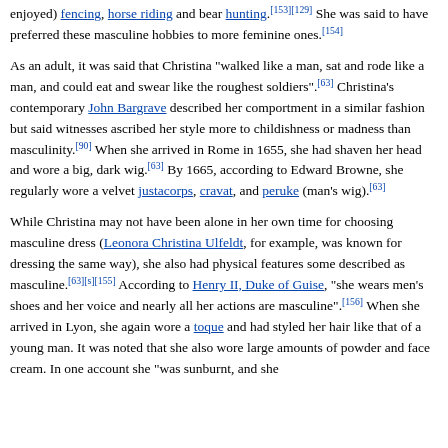enjoyed) fencing, horse riding and bear hunting.[153][129] She was said to have preferred these masculine hobbies to more feminine ones.[154]
As an adult, it was said that Christina "walked like a man, sat and rode like a man, and could eat and swear like the roughest soldiers".[63] Christina's contemporary John Bargrave described her comportment in a similar fashion but said witnesses ascribed her style more to childishness or madness than masculinity.[90] When she arrived in Rome in 1655, she had shaven her head and wore a big, dark wig.[63] By 1665, according to Edward Browne, she regularly wore a velvet justacorps, cravat, and peruke (man's wig).[63]
While Christina may not have been alone in her own time for choosing masculine dress (Leonora Christina Ulfeldt, for example, was known for dressing the same way), she also had physical features some described as masculine.[63][s][155] According to Henry II, Duke of Guise, "she wears men's shoes and her voice and nearly all her actions are masculine".[156] When she arrived in Lyon, she again wore a toque and had styled her hair like that of a young man. It was noted that she also wore large amounts of powder and face cream. In one account she "was sunburnt, and she